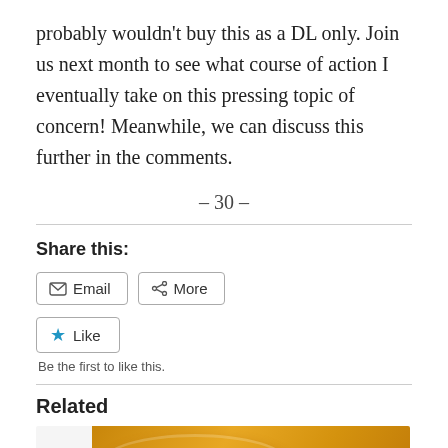probably wouldn't buy this as a DL only. Join us next month to see what course of action I eventually take on this pressing topic of concern! Meanwhile, we can discuss this further in the comments.
– 30 –
Share this:
Email   More
Like
Be the first to like this.
Related
[Figure (photo): A partial view of a related article image showing a golden/brown circular object.]